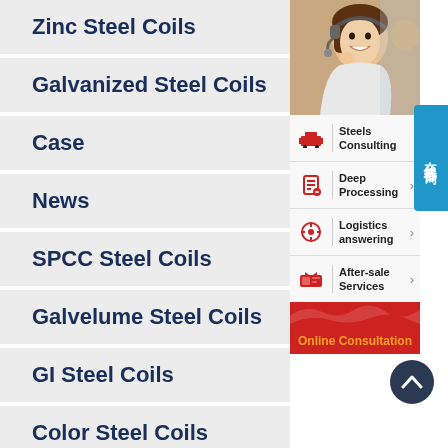Zinc Steel Coils
Galvanized Steel Coils
Case
News
SPCC Steel Coils
Galvelume Steel Coils
GI Steel Coils
Color Steel Coils
[Figure (photo): Woman with headset smiling, customer service representative]
在线咨询
Steels Consulting
Deep Processing
Logistics answering
After-sale Services
Online Consultation